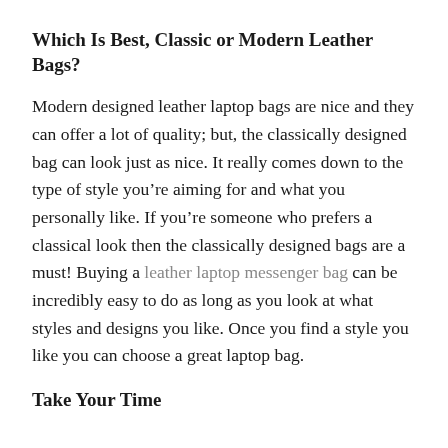Which Is Best, Classic or Modern Leather Bags?
Modern designed leather laptop bags are nice and they can offer a lot of quality; but, the classically designed bag can look just as nice. It really comes down to the type of style you’re aiming for and what you personally like. If you’re someone who prefers a classical look then the classically designed bags are a must! Buying a leather laptop messenger bag can be incredibly easy to do as long as you look at what styles and designs you like. Once you find a style you like you can choose a great laptop bag.
Take Your Time